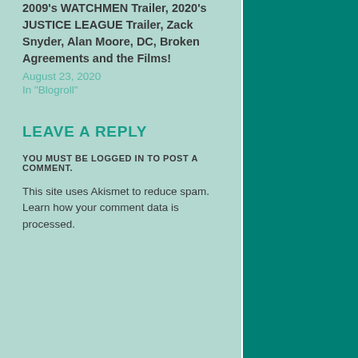2009's WATCHMEN Trailer, 2020's JUSTICE LEAGUE Trailer, Zack Snyder, Alan Moore, DC, Broken Agreements and the Films!
August 23, 2020
In "Blogroll"
LEAVE A REPLY
YOU MUST BE LOGGED IN TO POST A COMMENT.
This site uses Akismet to reduce spam. Learn how your comment data is processed.